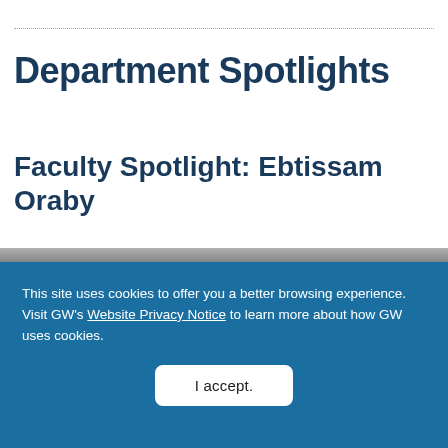Department Spotlights
Faculty Spotlight: Ebtissam Oraby
[Figure (photo): Partial photo strip of a person, visible at bottom of white section]
This site uses cookies to offer you a better browsing experience. Visit GW's Website Privacy Notice to learn more about how GW uses cookies.
I accept.